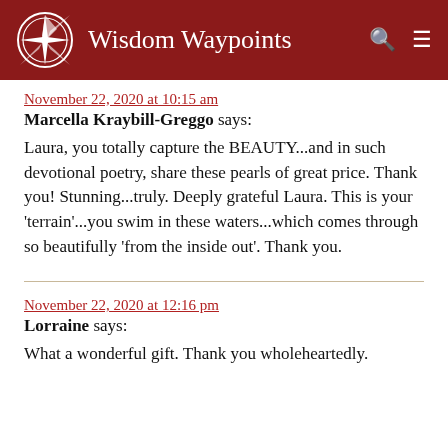Wisdom Waypoints
November 22, 2020 at 10:15 am
Marcella Kraybill-Greggo says:
Laura, you totally capture the BEAUTY...and in such devotional poetry, share these pearls of great price. Thank you! Stunning...truly. Deeply grateful Laura. This is your 'terrain'...you swim in these waters...which comes through so beautifully 'from the inside out'. Thank you.
November 22, 2020 at 12:16 pm
Lorraine says:
What a wonderful gift. Thank you wholeheartedly.